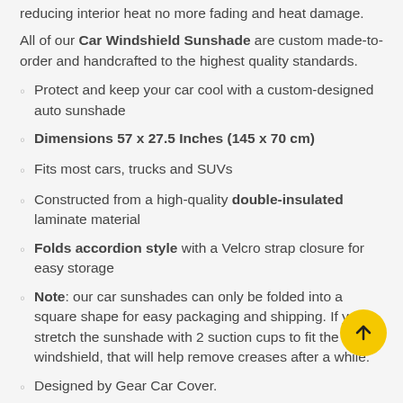reducing interior heat no more fading and heat damage.
All of our Car Windshield Sunshade are custom made-to-order and handcrafted to the highest quality standards.
Protect and keep your car cool with a custom-designed auto sunshade
Dimensions 57 x 27.5 Inches (145 x 70 cm)
Fits most cars, trucks and SUVs
Constructed from a high-quality double-insulated laminate material
Folds accordion style with a Velcro strap closure for easy storage
Note: our car sunshades can only be folded into a square shape for easy packaging and shipping. If you stretch the sunshade with 2 suction cups to fit the windshield, that will help remove creases after a while.
Designed by Gear Car Cover.